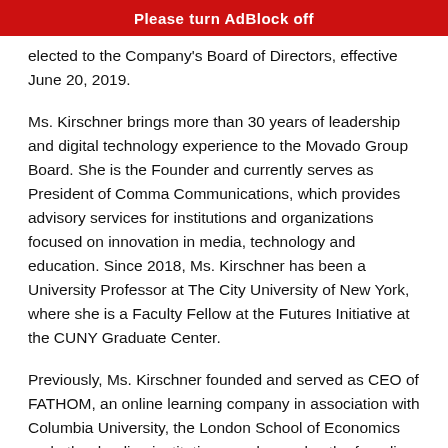Please turn AdBlock off
elected to the Company's Board of Directors, effective June 20, 2019.
Ms. Kirschner brings more than 30 years of leadership and digital technology experience to the Movado Group Board. She is the Founder and currently serves as President of Comma Communications, which provides advisory services for institutions and organizations focused on innovation in media, technology and education. Since 2018, Ms. Kirschner has been a University Professor at The City University of New York, where she is a Faculty Fellow at the Futures Initiative at the CUNY Graduate Center.
Previously, Ms. Kirschner founded and served as CEO of FATHOM, an online learning company in association with Columbia University, the London School of Economics and other leading institutions, and was also the founding co-